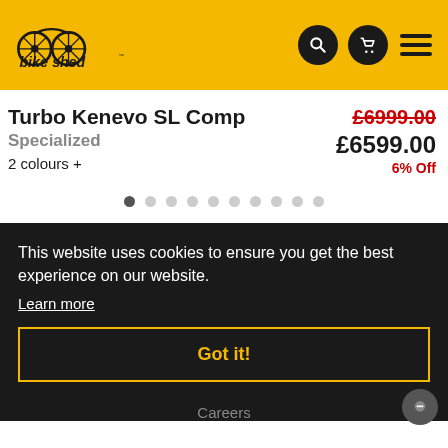bikeshed header with logo and navigation icons
Turbo Kenevo SL Comp
Specialized
2 colours +
£6999.00 £6599.00 6% Off
[Figure (other): Carousel pagination dots, 10 dots total, first one active]
This website uses cookies to ensure you get the best experience on our website.
Learn more
Got it!
Careers